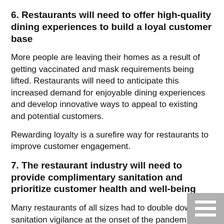6. Restaurants will need to offer high-quality dining experiences to build a loyal customer base
More people are leaving their homes as a result of getting vaccinated and mask requirements being lifted. Restaurants will need to anticipate this increased demand for enjoyable dining experiences and develop innovative ways to appeal to existing and potential customers.
Rewarding loyalty is a surefire way for restaurants to improve customer engagement.
7. The restaurant industry will need to provide complimentary sanitation and prioritize customer health and well-being
Many restaurants of all sizes had to double down sanitation vigilance at the onset of the pandemic.